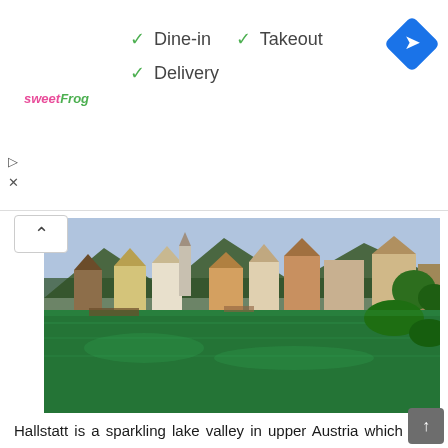[Figure (logo): sweetFrog logo in pink and green italic text]
✓ Dine-in
✓ Takeout
✓ Delivery
[Figure (illustration): Blue diamond navigation/directions icon]
[Figure (photo): Scenic photo of Hallstatt, Austria — colorful buildings along a green lake with mountains in background and lush trees]
Hallstatt is a sparkling lake valley in upper Austria which had been in an intimate relation with salt. Life here revolves around the salt mine in the mountains of this valley and the lake serves as the central lifeline. The Hallstatt Period derived its nomenclature from this place in Europe. Traces of